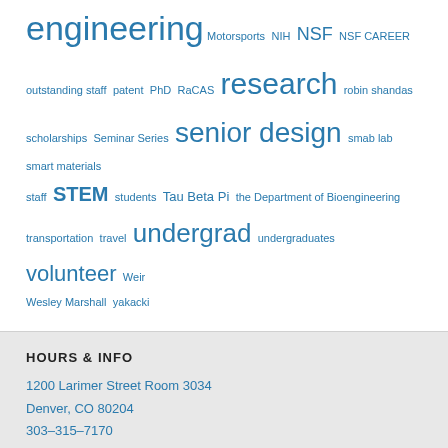engineering Motorsports NIH NSF NSF CAREER outstanding staff patent PhD RaCAS research robin shandas scholarships Seminar Series senior design smab lab smart materials staff STEM students Tau Beta Pi the Department of Bioengineering transportation travel undergrad undergraduates volunteer Weir Wesley Marshall yakacki
HOURS & INFO
1200 Larimer Street Room 3034
Denver, CO 80204
303-315-7170
engineering@ucdenver.edu